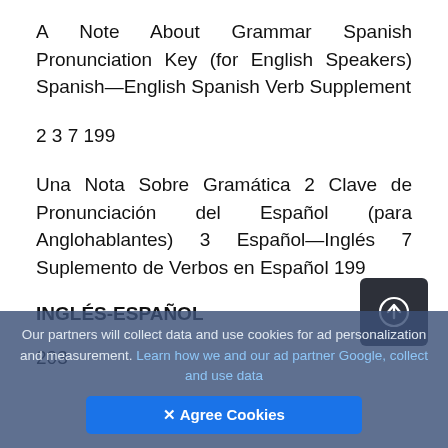A Note About Grammar Spanish Pronunciation Key (for English Speakers) Spanish—English Spanish Verb Supplement
2 3 7 199
Una Nota Sobre Gramática 2 Clave de Pronunciación del Español (para Anglohablantes) 3 Español—Inglés 7 Suplemento de Verbos en Español 199
INGLÉS-ESPAÑOL
203
Our partners will collect data and use cookies for ad personalization and measurement. Learn how we and our ad partner Google, collect and use data
✕ Agree Cookies